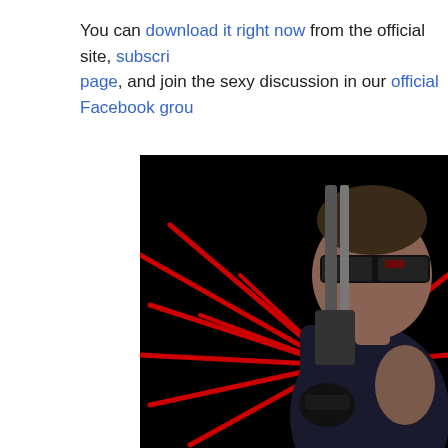You can download it right now from the official site, subscribe page, and join the sexy discussion in our official Facebook grou...
[Figure (photo): A muscular man wearing dark sunglasses and fingerless gloves, holding up a large handgun, posed against a black background with red radiating laser-beam lines. The image is styled like a movie promotional photo resembling The Terminator.]